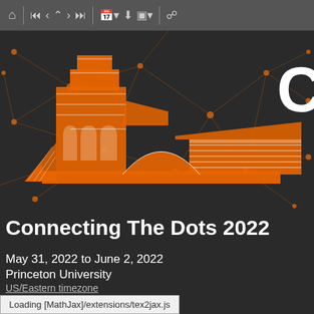[Figure (screenshot): Browser toolbar with navigation icons: home, first, back, up, forward, last, calendar, download, layout, and link buttons on a dark grey background]
[Figure (illustration): Stylized orange and white architectural illustration of Princeton University buildings on a dark background with orange network/dot connection lines pattern]
Connecting The Dots 2022
May 31, 2022 to June 2, 2022
Princeton University
US/Eastern timezone
Loading [MathJax]/extensions/tex2jax.js